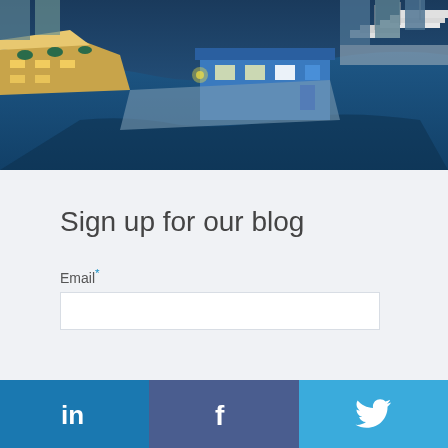[Figure (photo): Aerial view of a waterfront marina at dusk with restaurants, boats, and illuminated buildings]
Sign up for our blog
Email*
[Figure (infographic): Social media bar with LinkedIn, Facebook, and Twitter icons]